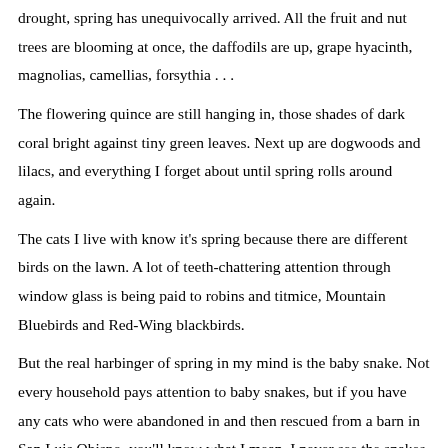drought, spring has unequivocally arrived. All the fruit and nut trees are blooming at once, the daffodils are up, grape hyacinth, magnolias, camellias, forsythia . . . The flowering quince are still hanging in, those shades of dark coral bright against tiny green leaves. Next up are dogwoods and lilacs, and everything I forget about until spring rolls around again.

The cats I live with know it's spring because there are different birds on the lawn. A lot of teeth-chattering attention through window glass is being paid to robins and titmice, Mountain Bluebirds and Red-Wing blackbirds.

But the real harbinger of spring in my mind is the baby snake. Not every household pays attention to baby snakes, but if you have any cats who were abandoned in and then rescued from a barn in San Luis Obispo, you'll know what I mean. I never see the snakes arrive, although I'd bet it's Gracie, my 16-year-old, half-blind, 7 lb. hunter who catches them. They just materialize on the kitchen